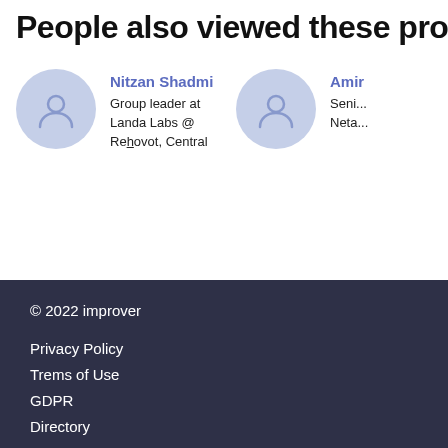People also viewed these profiles
Nitzan Shadmi
Group leader at Landa Labs @
Rehovot, Central
Amir...
Seni...
Neta...
© 2022 improver

Privacy Policy
Trems of Use
GDPR
Directory

Back top